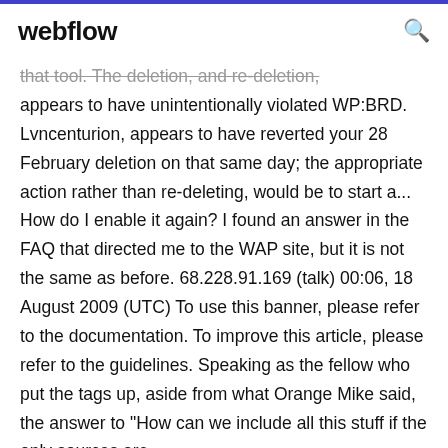webflow
that tool. The deletion, and re-deletion, appears to have unintentionally violated WP:BRD. Lvncenturion, appears to have reverted your 28 February deletion on that same day; the appropriate action rather than re-deleting, would be to start a... How do I enable it again? I found an answer in the FAQ that directed me to the WAP site, but it is not the same as before. 68.228.91.169 (talk) 00:06, 18 August 2009 (UTC) To use this banner, please refer to the documentation. To improve this article, please refer to the guidelines. Speaking as the fellow who put the tags up, aside from what Orange Mike said, the answer to "How can we include all this stuff if the only sources are